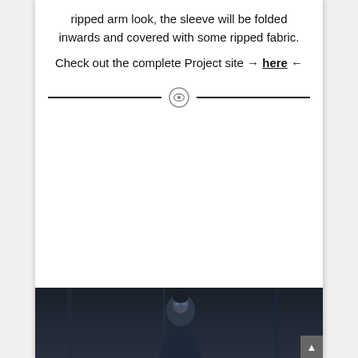ripped arm look, the sleeve will be folded inwards and covered with some ripped fabric.
Check out the complete Project site → here ←
[Figure (illustration): Decorative horizontal divider with two lines flanking a central eye icon (circle with an eye symbol inside)]
[Figure (photo): Dark-toned photograph showing a person with short dark hair wearing a dark jacket, partially visible at the bottom of the page]